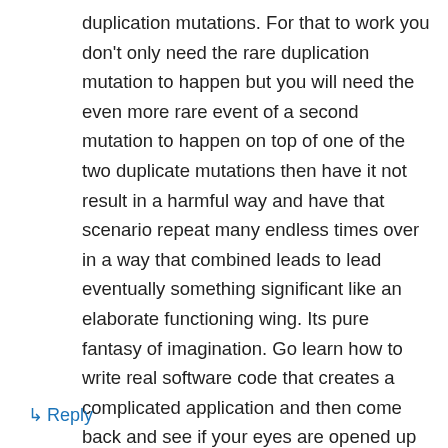duplication mutations. For that to work you don't only need the rare duplication mutation to happen but you will need the even more rare event of a second mutation to happen on top of one of the two duplicate mutations then have it not result in a harmful way and have that scenario repeat many endless times over in a way that combined leads to lead eventually something significant like an elaborate functioning wing. Its pure fantasy of imagination. Go learn how to write real software code that creates a complicated application and then come back and see if your eyes are opened up to this fantasy of coming from random positive chance.
↳ Reply